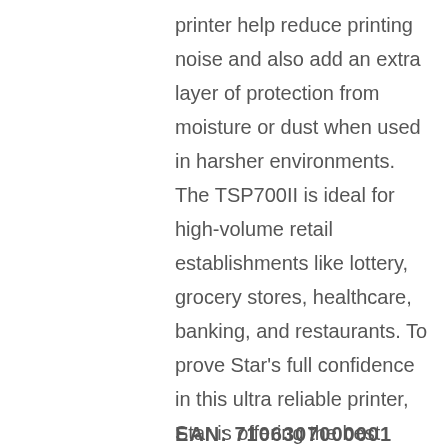printer help reduce printing noise and also add an extra layer of protection from moisture or dust when used in harsher environments. The TSP700II is ideal for high-volume retail establishments like lottery, grocery stores, healthcare, banking, and restaurants. To prove Star's full confidence in this ultra reliable printer, Star is offering the best warranty in the industry: a complimentary three year Extend-A-Star bumper to bumper warranty.
EAN: 7106307000001